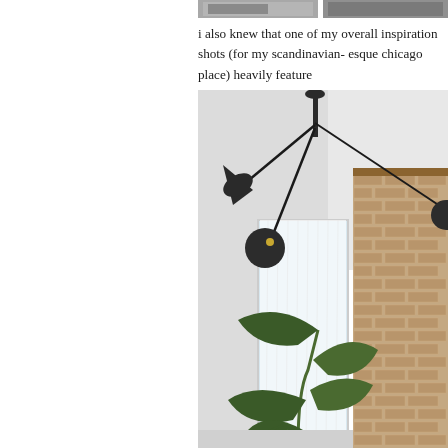[Figure (photo): Top strip showing partial photo of a room, partially cropped at top edge of page]
i also knew that one of my overall inspiration shots (for my scandinavian- esque chicago place) heavily feature
[Figure (photo): Interior room photo showing a modern black sculptural ceiling light fixture with articulated arms, globe and cone shades, mounted on white ceiling. Exposed brick wall visible on right, sheer white curtains on window, large tropical plant in foreground.]